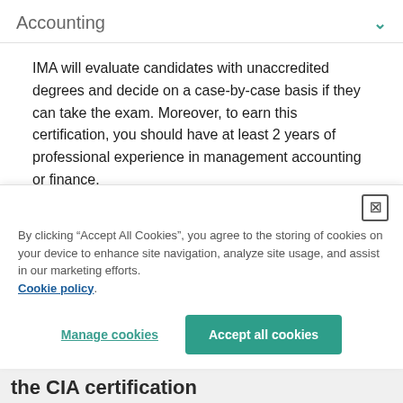Accounting
IMA will evaluate candidates with unaccredited degrees and decide on a case-by-case basis if they can take the exam. Moreover, to earn this certification, you should have at least 2 years of professional experience in management accounting or finance.
By clicking “Accept All Cookies”, you agree to the storing of cookies on your device to enhance site navigation, analyze site usage, and assist in our marketing efforts. Cookie policy
Manage cookies
Accept all cookies
the CIA certification